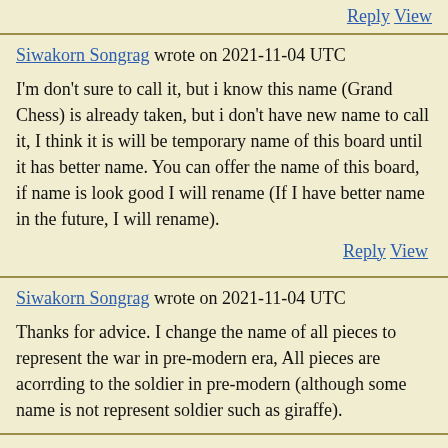Reply View
Siwakorn Songrag wrote on 2021-11-04 UTC
I'm don't sure to call it, but i know this name (Grand Chess) is already taken, but i don't have new name to call it, I think it is will be temporary name of this board until it has better name. You can offer the name of this board, if name is look good I will rename (If I have better name in the future, I will rename).
Reply View
Siwakorn Songrag wrote on 2021-11-04 UTC
Thanks for advice. I change the name of all pieces to represent the war in pre-modern era, All pieces are acorrding to the soldier in pre-modern (although some name is not represent soldier such as giraffe).